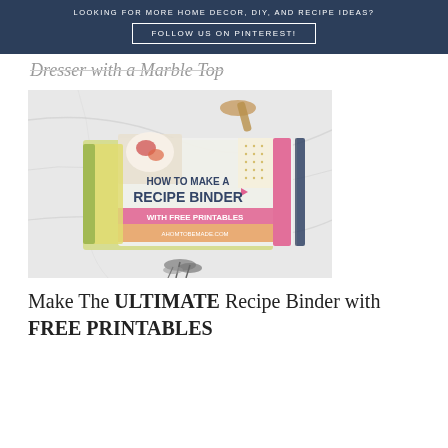LOOKING FOR MORE HOME DECOR, DIY, AND RECIPE IDEAS? FOLLOW US ON PINTEREST!
Dresser with a Marble Top
[Figure (photo): Photo of a recipe binder on a marble surface with wooden spoon and measuring spoons. The binder cover reads 'HOW TO MAKE A RECIPE BINDER WITH FREE PRINTABLES']
Make The ULTIMATE Recipe Binder with FREE PRINTABLES